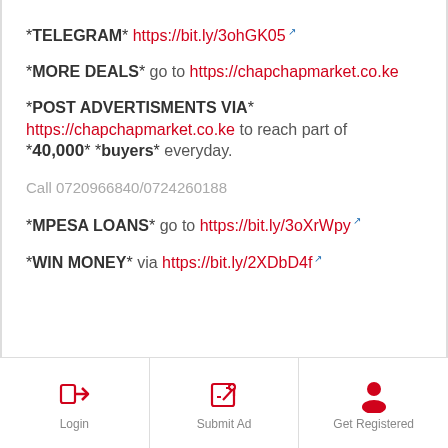*TELEGRAM* https://bit.ly/3ohGK05
*MORE DEALS* go to https://chapchapmarket.co.ke
*POST ADVERTISMENTS VIA*
https://chapchapmarket.co.ke to reach part of *40,000* *buyers* everyday.
Call 0720966840/0724260188
*MPESA LOANS* go to https://bit.ly/3oXrWpy
*WIN MONEY* via https://bit.ly/2XDbD4f
Login | Submit Ad | Get Registered